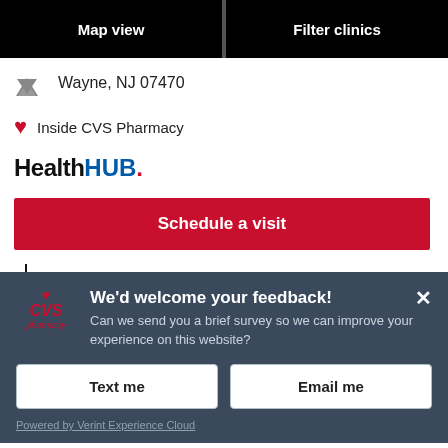[Figure (screenshot): Top navigation bar with two black buttons: 'Map view' on the left and 'Filter clinics' on the right]
Wayne, NJ 07470
♥ Inside CVS Pharmacy
[Figure (logo): HealthHUB. logo with 'Health' in black bold and 'HUB.' in blue bold with red dot]
Schedule a visit
Check Vaccine Availability
We'd welcome your feedback! Can we send you a brief survey so we can improve your experience on this website?
Text me
Email me
Powered by Verint Experience Cloud